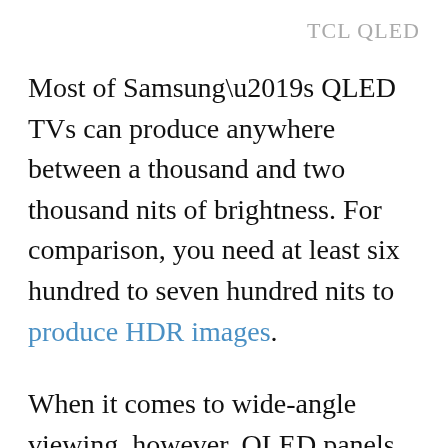TCL QLED
Most of Samsung’s QLED TVs can produce anywhere between a thousand and two thousand nits of brightness. For comparison, you need at least six hundred to seven hundred nits to produce HDR images.
When it comes to wide-angle viewing, however, QLED panels fall far short of their OLED rivals. QLED’s limitations can be blamed largely on the panel technology itself. As with all LCD-based displays, different areas of the screen can often appear brighter than others, and the backlighting can at times blood through. When viewed at a side, the